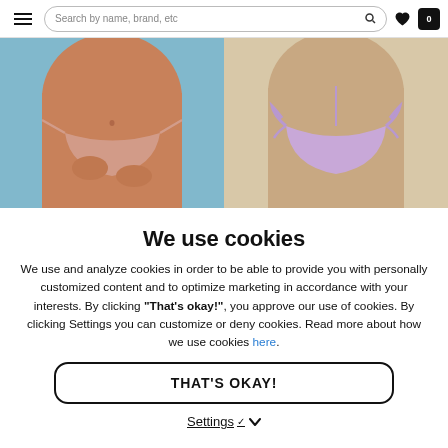Search by name, brand, etc
[Figure (photo): Two cropped product photos of swimwear bikini bottoms: left shows a nude/pink string bikini bottom on a model against a blue background; right shows a lilac/lavender tie-side bikini bottom on a model against a beige background.]
We use cookies
We use and analyze cookies in order to be able to provide you with personally customized content and to optimize marketing in accordance with your interests. By clicking "That's okay!", you approve our use of cookies. By clicking Settings you can customize or deny cookies. Read more about how we use cookies here.
THAT'S OKAY!
Settings